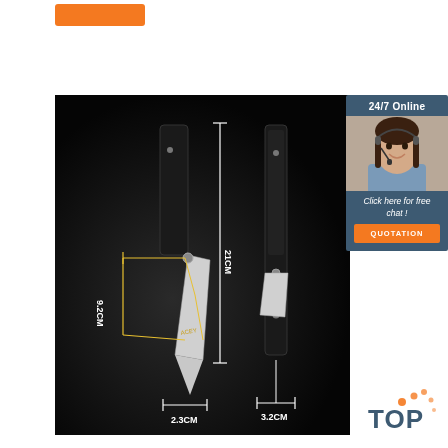[Figure (photo): Product photo of a folding knife on dark background with dimension annotations: 21CM total length, 9.2CM blade length, 2.3CM width, 3.2CM handle width. Two views of the knife shown.]
[Figure (infographic): Customer service chat box with '24/7 Online' header, photo of smiling woman with headset, 'Click here for free chat!' text, and orange QUOTATION button]
[Figure (logo): Orange and grey TOP logo with dotted arc in bottom right corner]